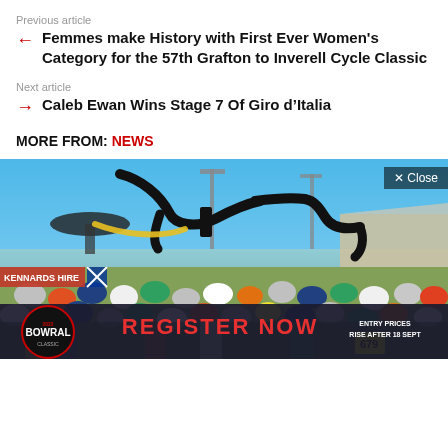Previous article
← Femmes make History with First Ever Women's Category for the 57th Grafton to Inverell Cycle Classic
Next article
→ Caleb Ewan Wins Stage 7 Of Giro d'Italia
MORE FROM: NEWS
[Figure (photo): Close-up of a bicycle handlebar/stem against a blue sky, with stadium lights and a building visible in the background. A 'Close' button overlay is in the top right.]
[Figure (photo): Crowd of cyclists at the start of a cycling event, with a Bowral Classic 2022 banner and 'REGISTER NOW - ENTRY PRICES RISE AFTER 18 SEPT' advertisement overlay at the bottom.]